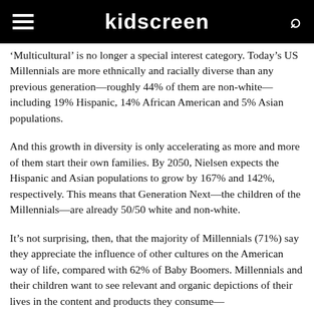kidscreen
'Multicultural' is no longer a special interest category. Today's US Millennials are more ethnically and racially diverse than any previous generation—roughly 44% of them are non-white—including 19% Hispanic, 14% African American and 5% Asian populations.
And this growth in diversity is only accelerating as more and more of them start their own families. By 2050, Nielsen expects the Hispanic and Asian populations to grow by 167% and 142%, respectively. This means that Generation Next—the children of the Millennials—are already 50/50 white and non-white.
It's not surprising, then, that the majority of Millennials (71%) say they appreciate the influence of other cultures on the American way of life, compared with 62% of Baby Boomers. Millennials and their children want to see relevant and organic depictions of their lives in the content and products they consume—